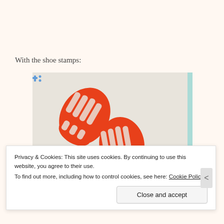With the shoe stamps:
[Figure (photo): A photo showing two red shoe sole stamp prints on a blue cross/dot patterned background on white paper. The shoe prints are red/orange showing the tread pattern, placed diagonally on the decorative blue-patterned paper.]
Privacy & Cookies: This site uses cookies. By continuing to use this website, you agree to their use. To find out more, including how to control cookies, see here: Cookie Policy
Close and accept